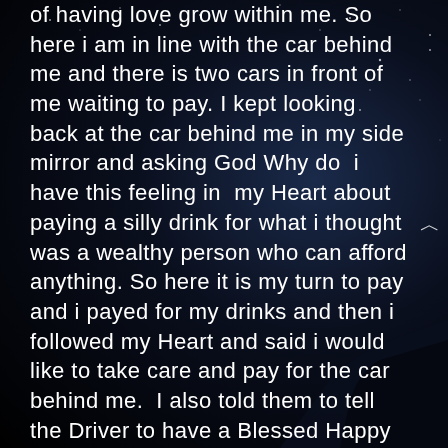of having love grow within me. So here i am in line with the car behind me and there is two cars in front of me waiting to pay. I kept looking back at the car behind me in my side mirror and asking God Why do i have this feeling in my Heart about paying a silly drink for what i thought was a wealthy person who can afford anything. So here it is my turn to pay and i payed for my drinks and then i followed my Heart and said i would like to take care and pay for the car behind me. I also told them to tell the Driver to have a Blessed Happy Day ! As i was waiting for my drinks i looked at my phone app and i found out